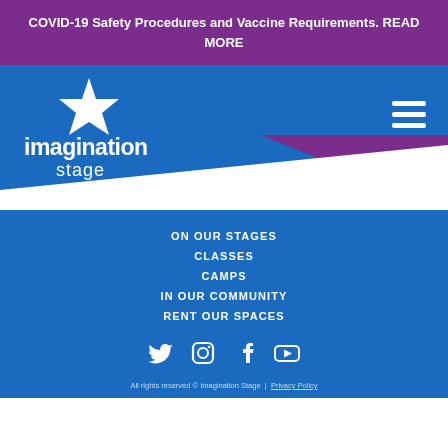COVID-19 Safety Procedures and Vaccine Requirements. READ MORE
[Figure (logo): Imagination Stage logo with star icon and text on blue background]
ON OUR STAGES
CLASSES
CAMPS
IN OUR COMMUNITY
RENT OUR SPACES
[Figure (infographic): Social media icons: Twitter, Instagram, Facebook, YouTube]
All rights reserved © Imagination Stage  |  Privacy Policy